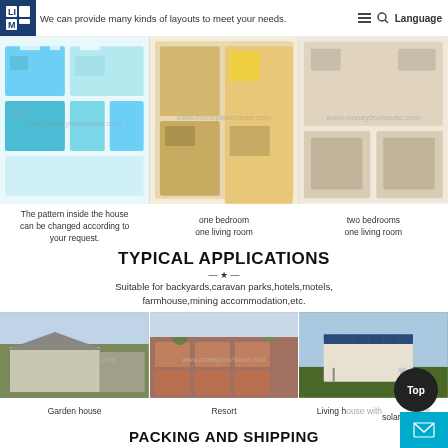We can provide many kinds of layouts to meet your needs.
[Figure (illustration): Three floor plan layout images side-by-side: left is a 3D top-down view with teal/blue rooms, center is a 3D rendering with warm tones (one bedroom one living room), right is a beige floor plan (two bedrooms one living room). Watermark: www.moneyboxhouse.com]
The pattern inside the house can be changed according to your request.
one bedroom
one living room
two bedrooms
one living room
TYPICAL APPLICATIONS
Suitable for backyards,caravan parks,hotels,motels,
farmhouse,mining accommodation,etc.
[Figure (photo): Three application photos: Garden house (single-story modern prefab with carport), Resort (aerial view of multiple container homes), Living house with solar system (prefab on stilts with solar panels)]
Garden house
Resort
Living house with solar system
PACKING AND SHIPPING